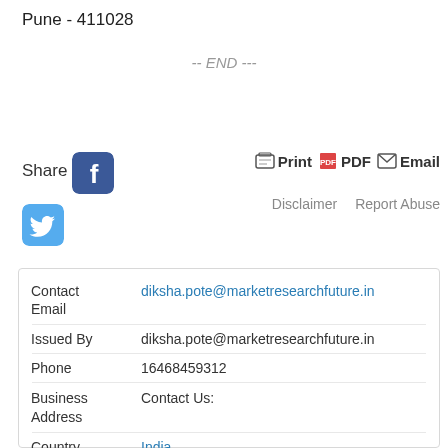Pune - 411028
-- END ---
[Figure (screenshot): Social share buttons: Facebook icon and Twitter icon]
Share
Print  PDF  Email
Disclaimer  Report Abuse
| Field | Value |
| --- | --- |
| Contact Email | diksha.pote@marketresearchfuture.in |
| Issued By | diksha.pote@marketresearchfuture.in |
| Phone | 16468459312 |
| Business Address | Contact Us: |
| Country | India |
| Categories | Health |